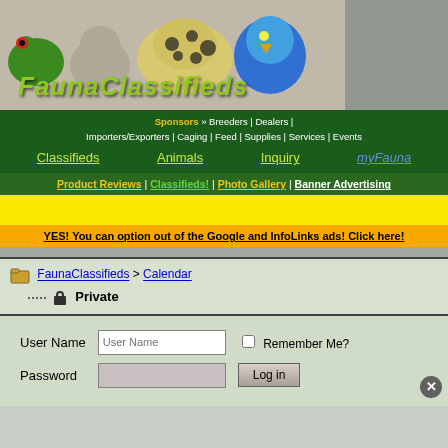[Figure (logo): FaunaClassifieds website logo with animals (frog, cat, gecko, parrot) and green italic FaunaClassifieds text]
Sponsors » Breeders | Dealers | Importers/Exporters | Caging | Feed | Supplies | Services | Events
Classifieds   Animals   Inquiry   [myFauna]
Product Reviews |  Classifieds!  | Photo Gallery  | Banner Advertising
YES! You can option out of the Google and InfoLinks ads! Click here!
FaunaClassifieds > Calendar
Private
User Name
Remember Me?
Password
Log in